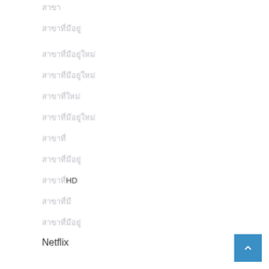สาขา
สาขาที่มีอยู่
สาขาที่มีอยู่ใหม่
สาขาที่มีอยู่ใหม่
สาขาที่ใหม่
สาขาที่มีอยู่ใหม่
สาขาที่
สาขาที่มีอยู่
สาขาที่HD
สาขาที่มี
สาขาที่มีอยู่
Netflix